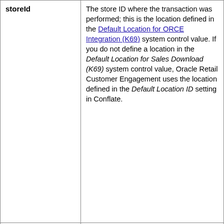| Field | Description |
| --- | --- |
| storeId | The store ID where the transaction was performed; this is the location defined in the Default Location for ORCE Integration (K69) system control value. If you do not define a location in the Default Location for Sales Download (K69) system control value, Oracle Retail Customer Engagement uses the location defined in the Default Location ID setting in Conflate. |
| userId | OROMS + the user ID of the Order Management System user that issued the coupon; for example, OROMS-KBOTTGER. |
| cardNumber | The loyalty card number associated with the award coupon. |
| currencyId | The default currency defined in the A55 system control value. |